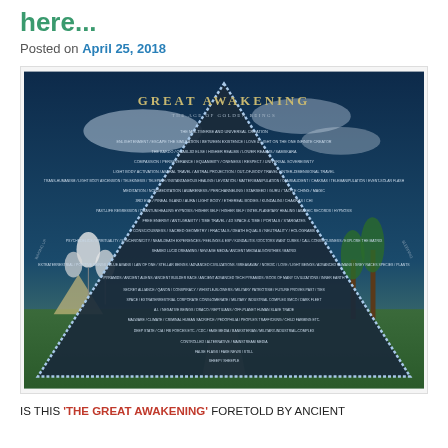here...
Posted on April 25, 2018
[Figure (infographic): Great Awakening: The Age of Golden Beings — an inverted triangle infographic with layered text rows describing spiritual, metaphysical, and conspiratorial topics, set against a futuristic landscape background with pyramids, balloons, and palm trees.]
IS THIS 'THE GREAT AWAKENING' FORETOLD BY ANCIENT